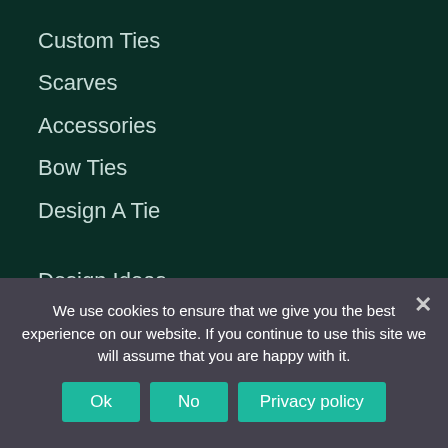Custom Ties
Scarves
Accessories
Bow Ties
Design A Tie
Design Ideas
Blog
FAQs
International Delivery
Contact Us
We use cookies to ensure that we give you the best experience on our website. If you continue to use this site we will assume that you are happy with it.
Ok | No | Privacy policy